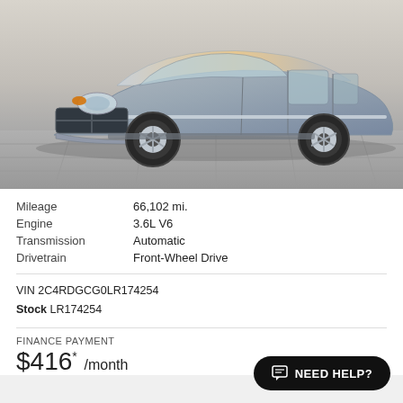[Figure (photo): Silver Dodge Grand Caravan minivan photographed from a front three-quarter angle on a gray tile surface with a light background.]
| Mileage | 66,102 mi. |
| Engine | 3.6L V6 |
| Transmission | Automatic |
| Drivetrain | Front-Wheel Drive |
VIN 2C4RDGCG0LR174254
Stock LR174254
FINANCE PAYMENT
$416* /month